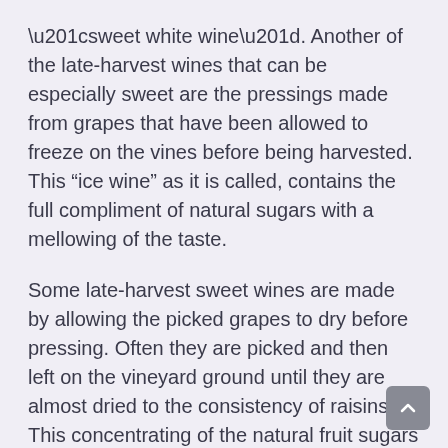“sweet white wine”. Another of the late-harvest wines that can be especially sweet are the pressings made from grapes that have been allowed to freeze on the vines before being harvested. This “ice wine” as it is called, contains the full compliment of natural sugars with a mellowing of the taste.
Some late-harvest sweet wines are made by allowing the picked grapes to dry before pressing. Often they are picked and then left on the vineyard ground until they are almost dried to the consistency of raisins. This concentrating of the natural fruit sugars also helps make for a higher alcohol, higher sweetness vintage of wine. Fortified wines are generally made to be sweet wines as well. With the insertion of neutral grape spirits into the fermenting vat, the yeast is